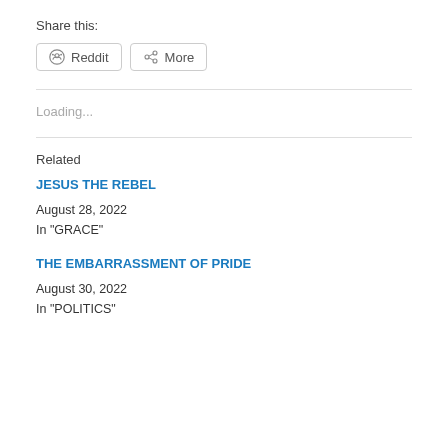Share this:
Reddit   More
Loading...
Related
JESUS THE REBEL
August 28, 2022
In "GRACE"
THE EMBARRASSMENT OF PRIDE
August 30, 2022
In "POLITICS"